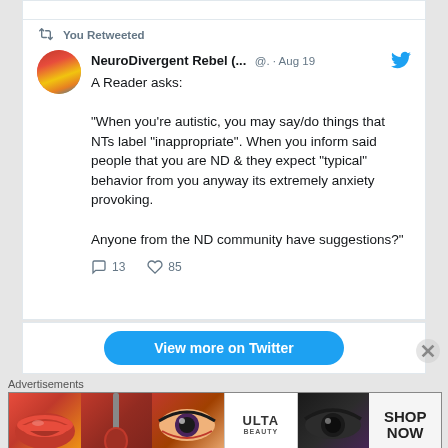You Retweeted
NeuroDivergent Rebel (... @. · Aug 19
A Reader asks:

"When you're autistic, you may say/do things that NTs label "inappropriate". When you inform said people that you are ND & they expect "typical" behavior from you anyway its extremely anxiety provoking.

Anyone from the ND community have suggestions?"
13  85
[Figure (screenshot): View more on Twitter button]
Advertisements
[Figure (photo): Ulta Beauty advertisement banner showing makeup imagery including lips, brush, eyes, Ulta logo, and SHOP NOW text]